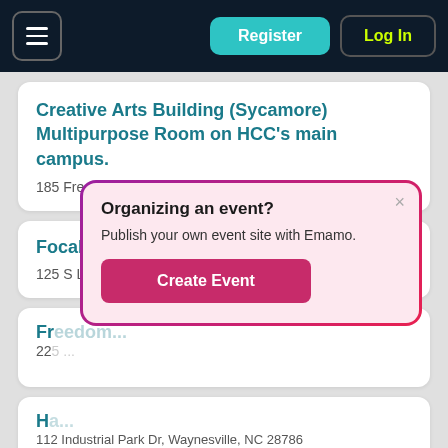Register | Log In
Creative Arts Building (Sycamore) Multipurpose Room on HCC's main campus.
185 Freedlander Dr, Clyde, NC 28721
Focal Point Coworking
125 S Lexington Ave Suite 101, Asheville, NC 28801
Fr... (partial)
22... (partial)
H... (partial)
112 Industrial Park Dr, Waynesville, NC 28786
Organizing an event?
Publish your own event site with Emamo.
Create Event